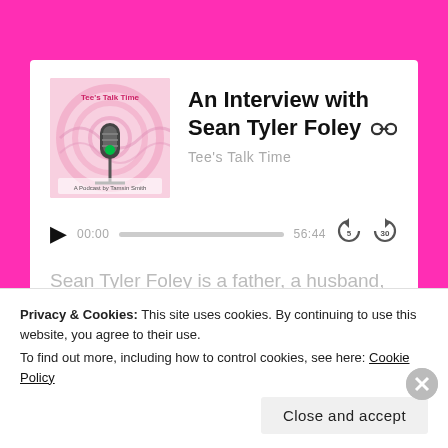[Figure (illustration): Podcast thumbnail image for Tee's Talk Time showing a microphone on a pink/white swirly background with text 'A Podcast by Tamsin Smith']
An Interview with Sean Tyler Foley
Tee's Talk Time
00:00  56:44
Sean Tyler Foley is a father, a husband, a film actor, a stage performer, a professional speaker, and a trainer of
Privacy & Cookies: This site uses cookies. By continuing to use this website, you agree to their use.
To find out more, including how to control cookies, see here: Cookie Policy
Close and accept